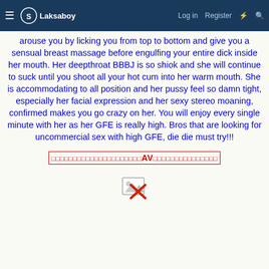≡ Laksaboy  Log in  Register ⚡ 🔍
arouse you by licking you from top to bottom and give you a sensual breast massage before engulfing your entire dick inside her mouth. Her deepthroat BBBJ is so shiok and she will continue to suck until you shoot all your hot cum into her warm mouth. She is accommodating to all position and her pussy feel so damn tight, especially her facial expression and her sexy stereo moaning, confirmed makes you go crazy on her. You will enjoy every single minute with her as her GFE is really high. Bros that are looking for uncommercial sex with high GFE, die die must try!!!
□□□□□□□□□□□□□□□□□□□□□AV□□□□□□□□□□□□□□□
[Figure (other): Broken image placeholder with red X]